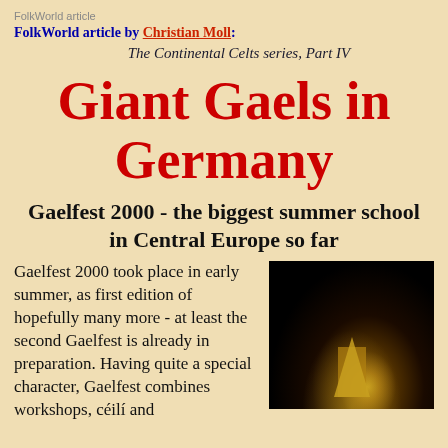FolkWorld article
FolkWorld article by Christian Moll:
The Continental Celts series, Part IV
Giant Gaels in Germany
Gaelfest 2000 - the biggest summer school in Central Europe so far
Gaelfest 2000 took place in early summer, as first edition of hopefully many more - at least the second Gaelfest is already in preparation. Having quite a special character, Gaelfest combines workshops, céilí and
[Figure (photo): Night-time photograph of an illuminated building or tower against a dark sky, with warm golden light glowing at the base.]